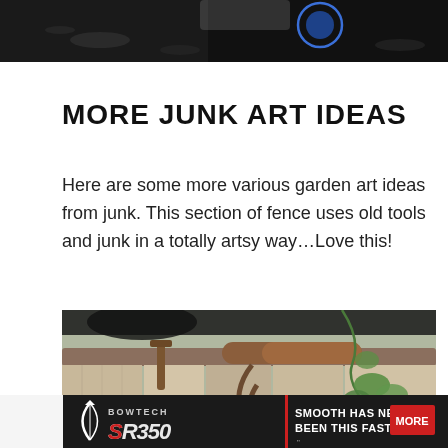[Figure (photo): Top portion of a garden art photo partially visible at the top of the page]
MORE JUNK ART IDEAS
Here are some more various garden art ideas from junk. This section of fence uses old tools and junk in a totally artsy way…Love this!
[Figure (photo): A rustic fence decorated with old tools and junk garden art, showing weathered wood, metal pipes, and hanging plant holders with green plants]
[Figure (photo): Bowtech SR350 advertisement banner: 'SMOOTH HAS NEVER BEEN THIS FAST.' with MORE button]